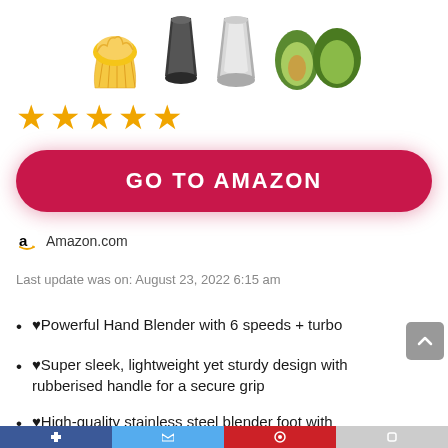[Figure (photo): Product images showing a muffin, two piping tips (black and silver), and avocados at the top of the page]
[Figure (infographic): Five orange/gold star rating icons]
[Figure (infographic): Red rounded rectangle button with text GO TO AMAZON in white bold uppercase letters]
Amazon.com
Last update was on: August 23, 2022 6:15 am
♥Powerful Hand Blender with 6 speeds + turbo
♥Super sleek, lightweight yet sturdy design with rubberised handle for a secure grip
♥High-quality stainless steel blender foot with